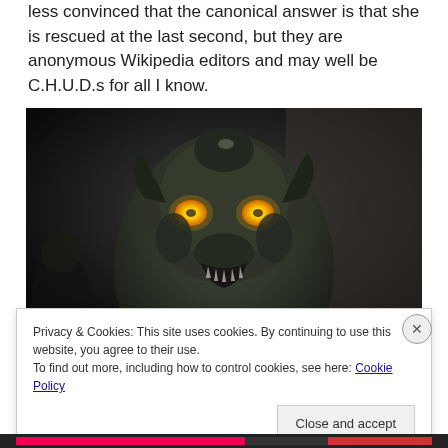less convinced that the canonical answer is that she is rescued at the last second, but they are anonymous Wikipedia editors and may well be C.H.U.D.s for all I know.
[Figure (photo): Dark image of a monstrous creature with glowing yellow eyes, sharp teeth, and dark scaly reptilian features, facing the camera against a dark background.]
Privacy & Cookies: This site uses cookies. By continuing to use this website, you agree to their use.
To find out more, including how to control cookies, see here: Cookie Policy